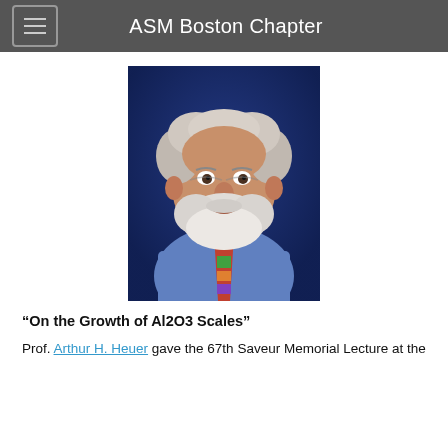ASM Boston Chapter
[Figure (photo): Portrait photo of an elderly smiling man with white beard, wearing a blue shirt and colorful tie, against a dark blue background]
“On the Growth of Al2O3 Scales”
Prof. Arthur H. Heuer gave the 67th Saveur Memorial Lecture at the